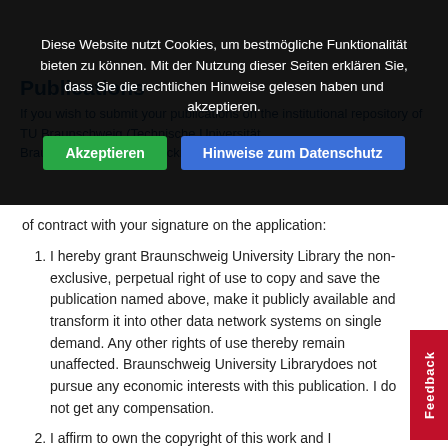[Figure (screenshot): Cookie consent overlay on a dark semi-transparent background with German text asking the user to accept cookies, with two buttons: 'Akzeptieren' (green) and 'Hinweise zum Datenschutz' (blue).]
Publications
If you wish to submit your publications on the institutional repository of TU Braunschweig (Technische Universität Braunschweig), you will acknowledge the following terms of contract with your signature on the application:
I hereby grant Braunschweig University Library the non-exclusive, perpetual right of use to copy and save the publication named above, make it publicly available and transform it into other data network systems on single demand. Any other rights of use thereby remain unaffected. Braunschweig University Librarydoes not pursue any economic interests with this publication. I do not get any compensation.
I affirm to own the copyright of this work and I furthermore affirm – also in the name of potential co-authors –, that no rights of third parties are